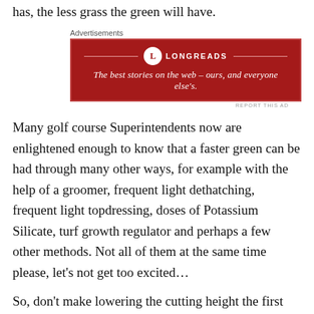has, the less grass the green will have.
[Figure (other): Longreads advertisement banner with red background. Text reads: 'The best stories on the web – ours, and everyone else's.']
Many golf course Superintendents now are enlightened enough to know that a faster green can be had through many other ways, for example with the help of a groomer, frequent light dethatching, frequent light topdressing, doses of Potassium Silicate, turf growth regulator and perhaps a few other methods. Not all of them at the same time please, let's not get too excited…
So, don't make lowering the cutting height the first thing to be done when greenspeed is an issue. We have seen greens that are faster at 5mm because there is more grass, the greens are healthier, than when the same